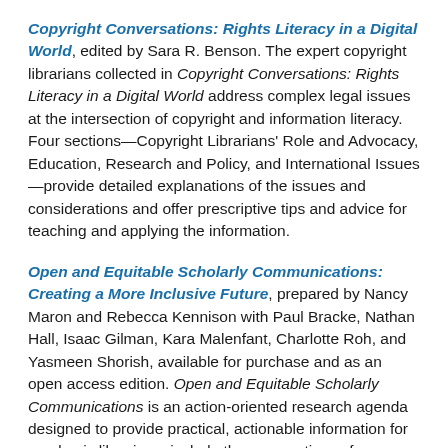Copyright Conversations: Rights Literacy in a Digital World, edited by Sara R. Benson. The expert copyright librarians collected in Copyright Conversations: Rights Literacy in a Digital World address complex legal issues at the intersection of copyright and information literacy. Four sections—Copyright Librarians' Role and Advocacy, Education, Research and Policy, and International Issues—provide detailed explanations of the issues and considerations and offer prescriptive tips and advice for teaching and applying the information.
Open and Equitable Scholarly Communications: Creating a More Inclusive Future, prepared by Nancy Maron and Rebecca Kennison with Paul Bracke, Nathan Hall, Isaac Gilman, Kara Malenfant, Charlotte Roh, and Yasmeen Shorish, available for purchase and as an open access edition. Open and Equitable Scholarly Communications is an action-oriented research agenda designed to provide practical, actionable information for academic librarians; include the perspectives of historically underrepresented communities in order to expand the professional understanding of open scholarly communications and